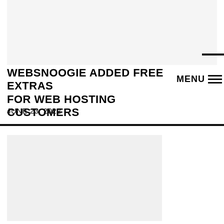[Figure (other): Light gray banner/image placeholder at top of page]
WEBSNOOGIE ADDED FREE EXTRAS FOR WEB HOSTING CUSTOMERS
JUNE 23, 2022
[Figure (other): Light gray image placeholder in lower half of page]